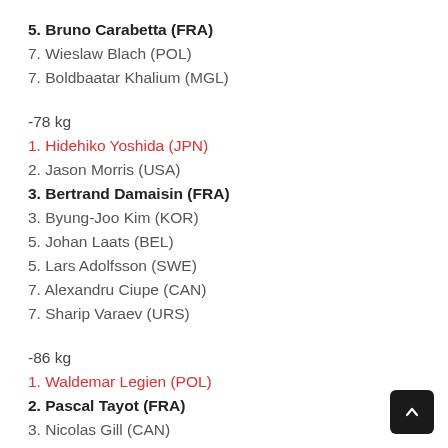5. Bruno Carabetta (FRA)
7. Wieslaw Blach (POL)
7. Boldbaatar Khalium (MGL)
-78 kg
1. Hidehiko Yoshida (JPN)
2. Jason Morris (USA)
3. Bertrand Damaisin (FRA)
3. Byung-Joo Kim (KOR)
5. Johan Laats (BEL)
5. Lars Adolfsson (SWE)
7. Alexandru Ciupe (CAN)
7. Sharip Varaev (URS)
-86 kg
1. Waldemar Legien (POL)
2. Pascal Tayot (FRA)
3. Nicolas Gill (CAN)